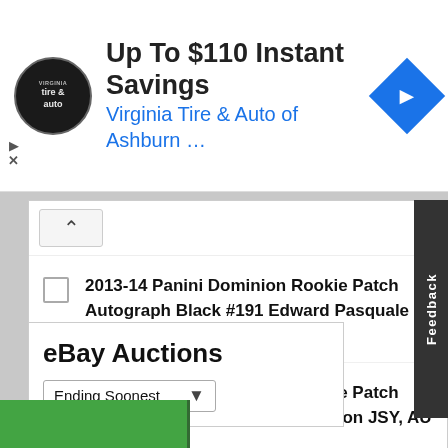[Figure (screenshot): Ad banner for Virginia Tire & Auto of Ashburn showing logo, headline 'Up To $110 Instant Savings', and navigation icon]
2013-14 Panini Dominion Rookie Patch Autograph Black #191 Edward Pasquale JSY, AU /1
2013-14 Panini Dominion Rookie Patch Autograph Black #192 Tom Wilson JSY, AU /1
eBay Auctions
Ending Soonest